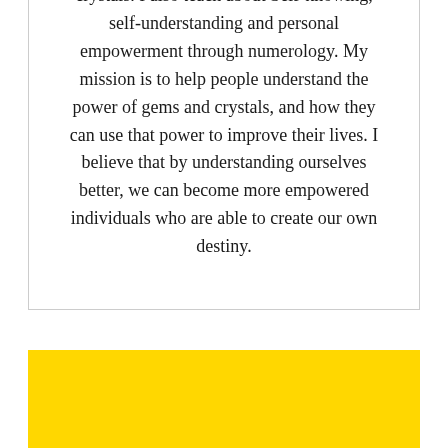crystals. I also teach about Self-knowing, self-understanding and personal empowerment through numerology. My mission is to help people understand the power of gems and crystals, and how they can use that power to improve their lives. I believe that by understanding ourselves better, we can become more empowered individuals who are able to create our own destiny.
Free Birth Chart Numerology